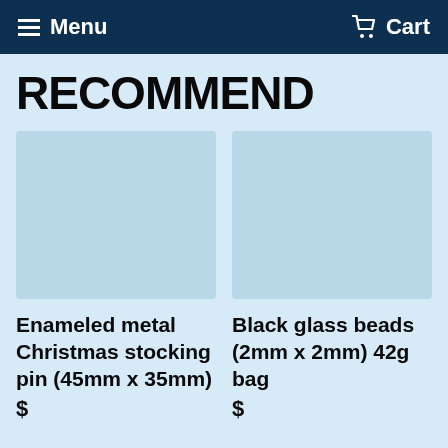Menu   Cart
RECOMMEND
Enameled metal Christmas stocking pin (45mm x 35mm)
Black glass beads (2mm x 2mm) 42g bag